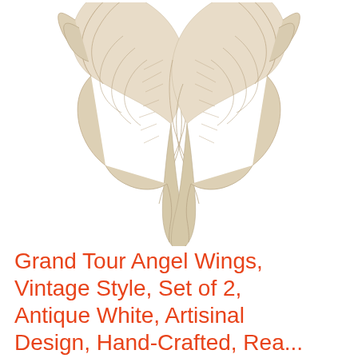[Figure (photo): Two decorative angel wings wall art pieces in antique white/cream color with detailed feather texture, arranged symmetrically facing each other against a white background. The wings are sculptural resin pieces with layered feather detail, curving downward to pointed tips.]
Grand Tour Angel Wings, Vintage Style, Set of 2, Antique White, Artisinal Design, Hand-Crafted, Rea...